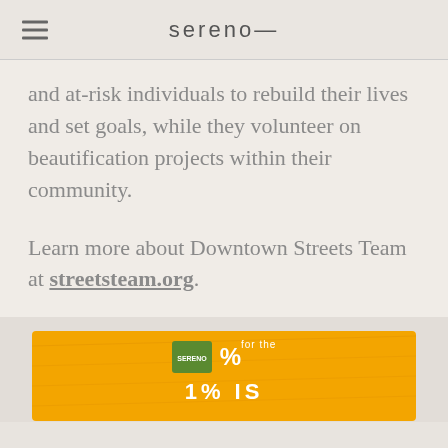sereno—
and at-risk individuals to rebuild their lives and set goals, while they volunteer on beautification projects within their community.
Learn more about Downtown Streets Team at streetsteam.org.
[Figure (infographic): Orange textured card with Sereno and 1% for the Planet logos, and text '1% IS']